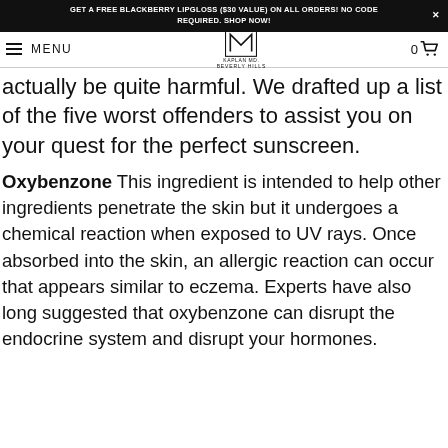GET A FREE BLACKBERRY LIPGLOSS ($30 VALUE) ON ALL ORDERS! NO CODE REQUIRED. SHOP NOW!
MENU | KAPLAN MD | 0 (cart)
actually be quite harmful. We drafted up a list of the five worst offenders to assist you on your quest for the perfect sunscreen.
Oxybenzone This ingredient is intended to help other ingredients penetrate the skin but it undergoes a chemical reaction when exposed to UV rays. Once absorbed into the skin, an allergic reaction can occur that appears similar to eczema. Experts have also long suggested that oxybenzone can disrupt the endocrine system and disrupt your hormones.